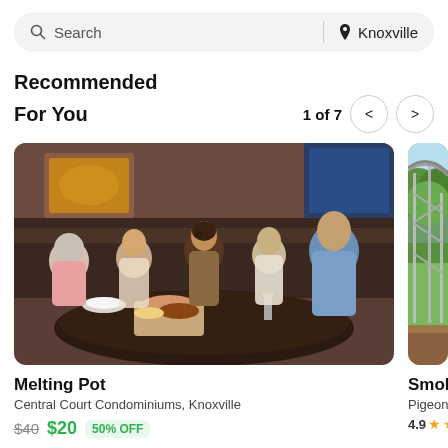Search | Knoxville
Recommended
For You
1 of 7
[Figure (photo): Family of five dining together at a round table in a restaurant, with food spread on the table]
Melting Pot
Central Court Condominiums, Knoxville
$40 $20 50% OFF
[Figure (photo): Outdoor roller coaster or amusement park ride surrounded by trees]
Smoky Mo
Pigeon Forg
4.9 ★★★★